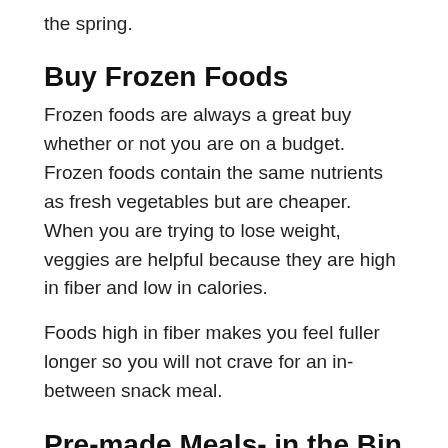the spring.
Buy Frozen Foods
Frozen foods are always a great buy whether or not you are on a budget. Frozen foods contain the same nutrients as fresh vegetables but are cheaper. When you are trying to lose weight, veggies are helpful because they are high in fiber and low in calories.
Foods high in fiber makes you feel fuller longer so you will not crave for an in-between snack meal.
Pre-made Meals- in the Bin
Pre-made foods are convenient. They are, however, not too healthy. They are expensive, too. Eating real